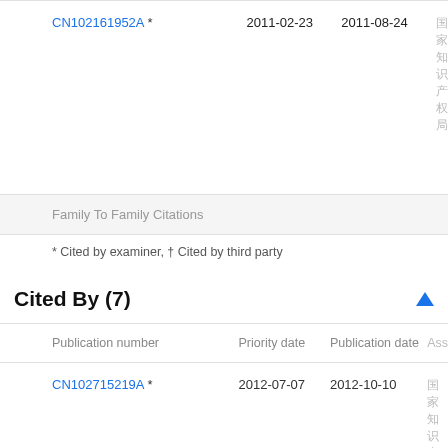| Publication number | Priority date | Publication date | Ass |
| --- | --- | --- | --- |
| CN102161952A * | 2011-02-23 | 2011-08-24 | 国家知识产权局 |
Family To Family Citations
* Cited by examiner, † Cited by third party
Cited By (7)
| Publication number | Priority date | Publication date | Ass |
| --- | --- | --- | --- |
| CN102715219A * | 2012-07-07 | 2012-10-10 | 国家知识产权局 |